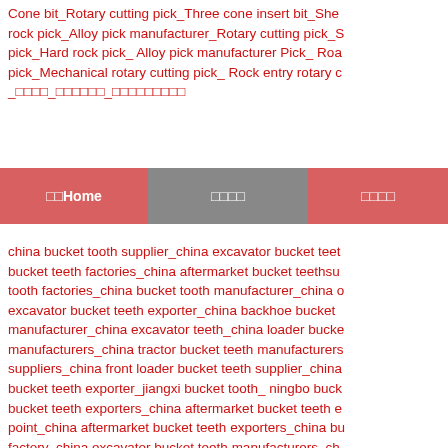Cone bit_Rotary cutting pick_Three cone insert bit_She rock pick_Alloy pick manufacturer_Rotary cutting pick_S pick_Hard rock pick_ Alloy pick manufacturer Pick_ Roa pick_Mechanical rotary cutting pick_ Rock entry rotary c _□□□□_□□□□□□_□□□□□□□□□
□□Home   □□□□   □□□□
china bucket tooth supplier_china excavator bucket teet bucket teeth factories_china aftermarket bucket teethsu tooth factories_china bucket tooth manufacturer_china o excavator bucket teeth exporter_china backhoe bucket manufacturer_china excavator teeth_china loader bucke manufacturers_china tractor bucket teeth manufacturers suppliers_china front loader bucket teeth supplier_china bucket teeth exporter_jiangxi bucket tooth_ ningbo buck bucket teeth exporters_china aftermarket bucket teeth e point_china aftermarket bucket teeth exporters_china bu factory_china excavator bucket teeth manufacturers_ch supplier_china bucket teeth manufacturer_korea bucket excavator bucket teeth factory_chinese bucket tooth_ch manufacturers_chineses bucket tooth_china bucket teet supplier_china bolt on bucket teeth suppliers_china tra